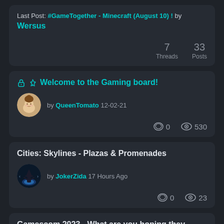Last Post: #GameTogether - Minecraft (August 10) ! by Wersus
7 Threads   33 Posts
🔒 📌 Welcome to the Gaming board!
by QueenTomato 12-02-21
💬 0   👁 530
Cities: Skylines - Plazas & Promenades
by JokerZida 17 Hours Ago
💬 0   👁 23
Gamescom 2023 - What are you hoping they